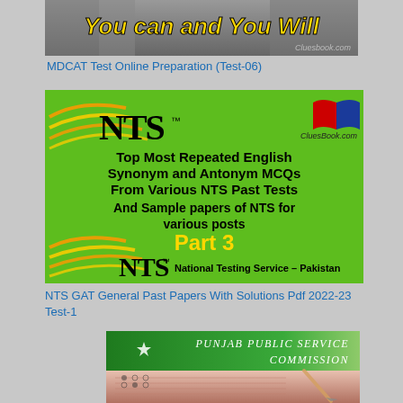[Figure (illustration): Dark banner with bold yellow italic text 'You can and You Will' and 'Cluesbook.com' in bottom right corner]
MDCAT Test Online Preparation (Test-06)
[Figure (illustration): NTS green promotional banner showing 'Top Most Repeated English Synonym and Antonym MCQs From Various NTS Past Tests And Sample papers of NTS for various posts Part 3' with NTS logo and National Testing Service - Pakistan branding and CluesBook.com logo]
NTS GAT General Past Papers With Solutions Pdf 2022-23 Test-1
[Figure (illustration): Punjab Public Service Commission banner with Pakistani flag design on top green section and red section below showing MCQ answer sheet with pencil]